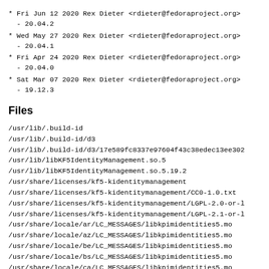* Fri Jun 12 2020 Rex Dieter <rdieter@fedoraproject.org>
  - 20.04.2
* Wed May 27 2020 Rex Dieter <rdieter@fedoraproject.org>
  - 20.04.1
* Fri Apr 24 2020 Rex Dieter <rdieter@fedoraproject.org>
  - 20.04.0
* Sat Mar 07 2020 Rex Dieter <rdieter@fedoraproject.org>
  - 19.12.3
Files
/usr/lib/.build-id
/usr/lib/.build-id/d3
/usr/lib/.build-id/d3/17e589fc8337e97604f43c38edec13ee302
/usr/lib/libKF5IdentityManagement.so.5
/usr/lib/libKF5IdentityManagement.so.5.19.2
/usr/share/licenses/kf5-kidentitymanagement
/usr/share/licenses/kf5-kidentitymanagement/CC0-1.0.txt
/usr/share/licenses/kf5-kidentitymanagement/LGPL-2.0-or-l
/usr/share/licenses/kf5-kidentitymanagement/LGPL-2.1-or-l
/usr/share/locale/ar/LC_MESSAGES/libkpimidentities5.mo
/usr/share/locale/az/LC_MESSAGES/libkpimidentities5.mo
/usr/share/locale/be/LC_MESSAGES/libkpimidentities5.mo
/usr/share/locale/bs/LC_MESSAGES/libkpimidentities5.mo
/usr/share/locale/ca/LC_MESSAGES/libkpimidentities5.mo
/usr/share/locale/ca@valencia/LC_MESSAGES/libkpimidentit
/usr/share/locale/cs/LC_MESSAGES/libkpimidentities5.mo
/usr/share/locale/da/LC_MESSAGES/libkpimidentities5.mo